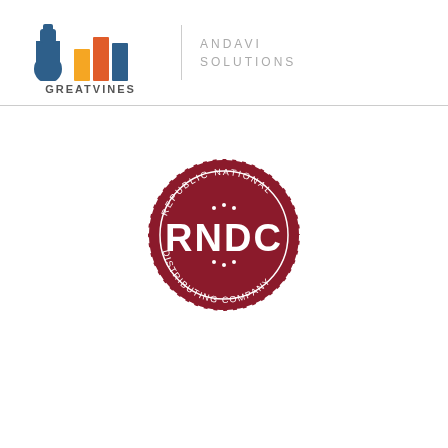[Figure (logo): GreatVines logo with wine bottle and bar chart icons, alongside Andavi Solutions text]
[Figure (logo): RNDC Republic National Distributing Company circular stamp logo in dark red/maroon]